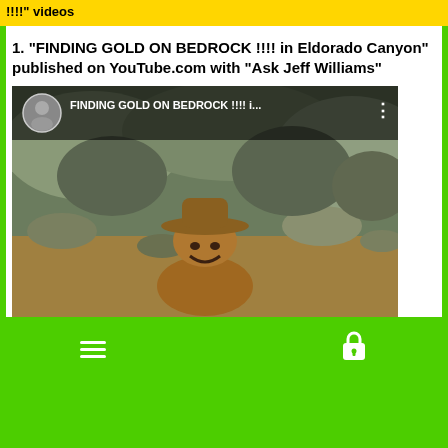!!!!" videos
1. “FINDING GOLD ON BEDROCK !!!! in Eldorado Canyon” published on YouTube.com with “Ask Jeff Williams”
[Figure (screenshot): YouTube video thumbnail screenshot showing a man in a brown hat and jacket outdoors in rocky canyon terrain. The video bar at top shows a circular avatar, the title 'FINDING GOLD ON BEDROCK !!!! i...' and a three-dot menu icon.]